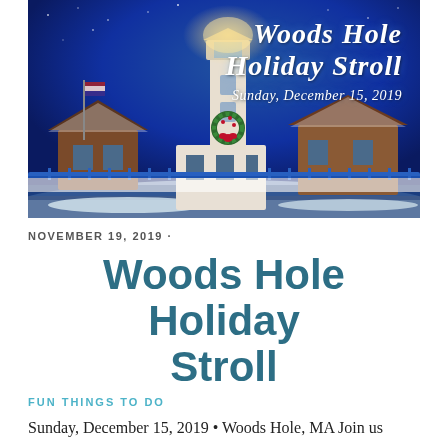[Figure (photo): Nighttime photo of a lighthouse decorated with a wreath, surrounded by snow-covered buildings, under a deep blue sky. Text overlay reads 'Woods Hole Holiday Stroll' and 'Sunday, December 15, 2019'.]
NOVEMBER 19, 2019 ·
Woods Hole Holiday Stroll
FUN THINGS TO DO
Sunday, December 15, 2019 • Woods Hole, MA Join us